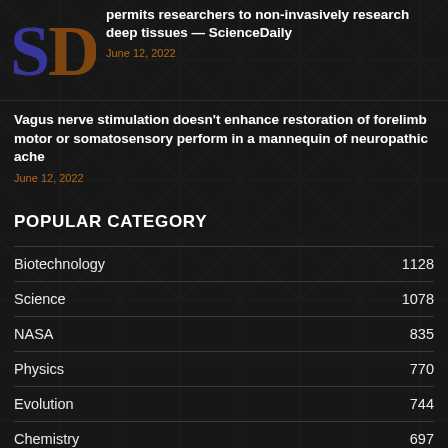[Figure (logo): ScienceDaily logo — stylized blue 'S' and brown 'D' letters]
permits researchers to non-invasively research deep tissues — ScienceDaily
June 12, 2022
Vagus nerve stimulation doesn't enhance restoration of forelimb motor or somatosensory perform in a mannequin of neuropathic ache
June 12, 2022
POPULAR CATEGORY
Biotechnology 1128
Science 1078
NASA 835
Physics 770
Evolution 744
Chemistry 697